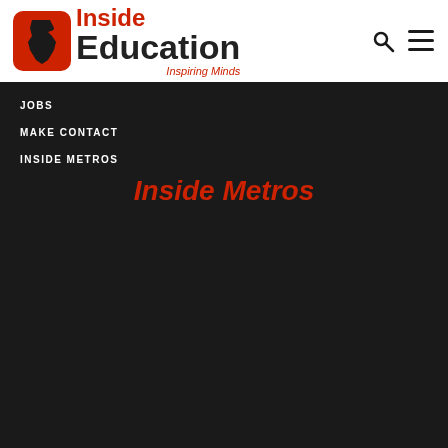Inside Education — Inspiring Minds
JOBS
MAKE CONTACT
INSIDE METROS
Inside Metros